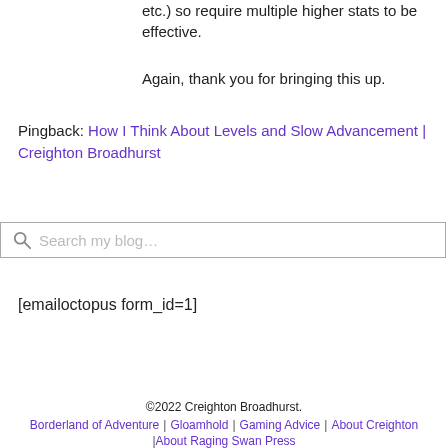etc.) so require multiple higher stats to be effective.
Again, thank you for bringing this up.
Pingback: How I Think About Levels and Slow Advancement | Creighton Broadhurst
Search my blog…
[emailoctopus form_id=1]
©2022 Creighton Broadhurst. Borderland of Adventure | Gloamhold | Gaming Advice | About Creighton | About Raging Swan Press